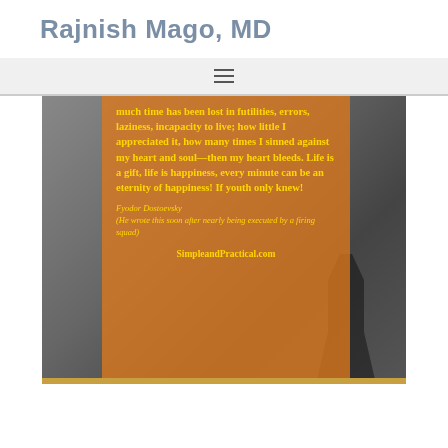Rajnish Mago, MD
[Figure (photo): An orange-tinted overlay panel on a dark landscape photo (silhouette of a person on a rocky outcrop) containing a Dostoevsky quote in yellow text, attributed to Fyodor Dostoevsky, with the website SimpleandPractical.com at the bottom of the overlay.]
...much time has been lost in futilities, errors, laziness, incapacity to live; how little I appreciated it, how many times I sinned against my heart and soul—then my heart bleeds. Life is a gift, life is happiness, every minute can be an eternity of happiness! If youth only knew!
Fyodor Dostoevsky
(He wrote this soon after nearly being executed by a firing squad)
SimpleandPractical.com